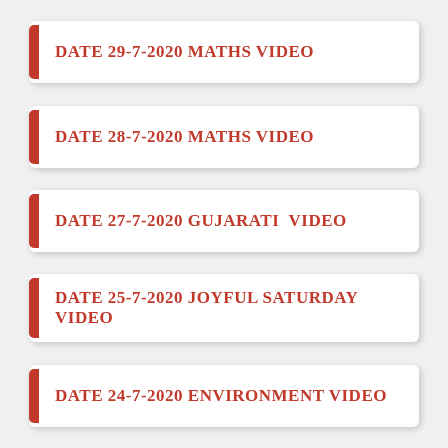DATE 29-7-2020 MATHS VIDEO
DATE 28-7-2020 MATHS VIDEO
DATE 27-7-2020 GUJARATI  VIDEO
DATE 25-7-2020 JOYFUL SATURDAY VIDEO
DATE 24-7-2020 ENVIRONMENT VIDEO